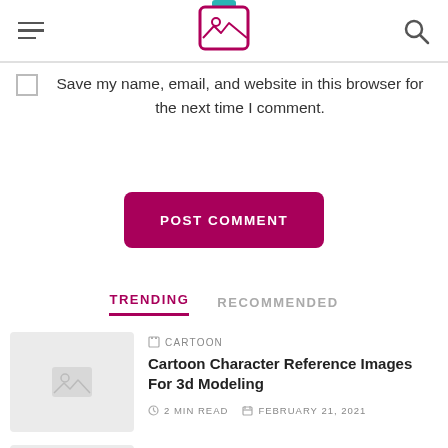Navigation header with hamburger menu, logo, and search icon
Save my name, email, and website in this browser for the next time I comment.
POST COMMENT
TRENDING   RECOMMENDED
CARTOON
Cartoon Character Reference Images For 3d Modeling
2 MIN READ   FEBRUARY 21, 2021